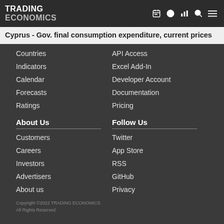TRADING ECONOMICS
Cyprus - Gov. final consumption expenditure, current prices
Countries
Indicators
Calendar
Forecasts
Ratings
API Access
Excel Add-In
Developer Account
Documentation
Pricing
About Us
Follow Us
Customers
Careers
Investors
Advertisers
About us
Twitter
App Store
RSS
GitHub
Privacy
Copyright ©2022 TRADING ECONOMICS
All Rights Reserved